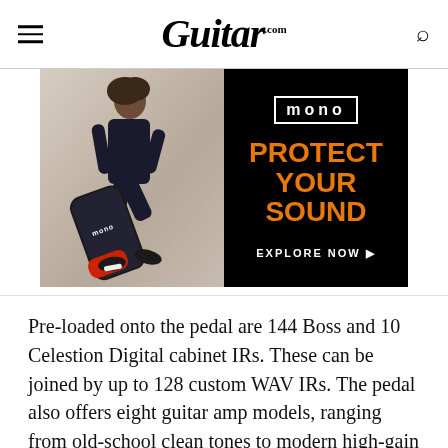Guitar.com
[Figure (photo): Advertisement for MONO guitar cases. Left side shows a person carrying a MONO guitar case while sitting/crouching against a wall. Right side is black with white MONO logo, orange bold text reading 'PROTECT YOUR SOUND', and white text 'EXPLORE NOW ▶']
Pre-loaded onto the pedal are 144 Boss and 10 Celestion Digital cabinet IRs. These can be joined by up to 128 custom WAV IRs. The pedal also offers eight guitar amp models, ranging from old-school clean tones to modern high-gain and everything